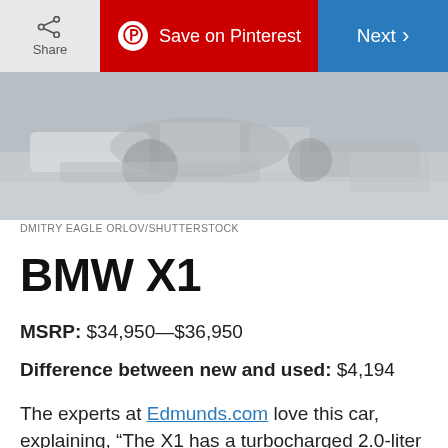[Figure (screenshot): Top navigation bar with Share button, Save on Pinterest button (red), and Next button (blue)]
[Figure (photo): Partial photo of a BMW X1 car undercarriage/engine area]
DMITRY EAGLE ORLOV/SHUTTERSTOCK
BMW X1
MSRP: $34,950—$36,950
Difference between new and used: $4,194
The experts at Edmunds.com love this car, explaining, “The X1 has a turbocharged 2.0-liter engine that produces 228 horsepower and 258 pound-feet of torque. That’s near the top in power for the segment.” In terms of handling, the reviewers write that the X1 is “closer to a sport